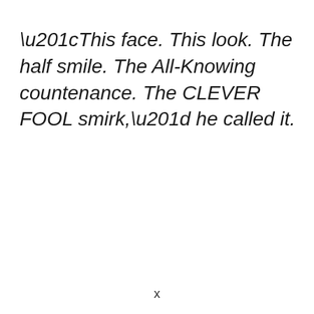“This face. This look. The half smile. The All-Knowing countenance. The CLEVER FOOL smirk,” he called it.
x